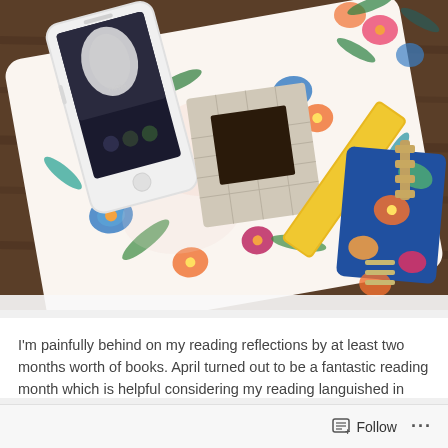[Figure (photo): Overhead flat-lay photo on a dark wood surface showing a floral-patterned white clutch/bag with colorful tropical flowers and leaves, a smartphone showing an image on screen, a small square-shaped object with a dark face, a yellow rectangular item, and a blue floral-patterned item, with metallic accessories visible.]
I'm painfully behind on my reading reflections by at least two months worth of books. April turned out to be a fantastic reading month which is helpful considering my reading languished in May. Below I start with a (probably unfair) review of a harmless YA